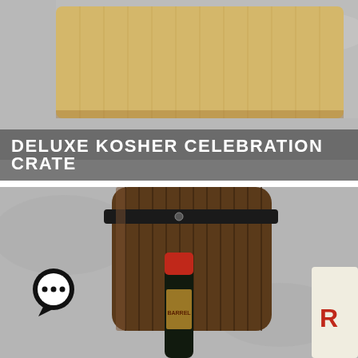[Figure (photo): Top-down view of a wooden crate or cutting board on a gray stone surface]
DELUXE KOSHER CELEBRATION CRATE
[Figure (photo): A rustic wooden barrel with black metal bands, a red-topped wine bottle leaning against it, and a partial view of a package with the letter 'R' on the right side. A chat bubble icon with ellipsis is overlaid in the bottom-left corner.]